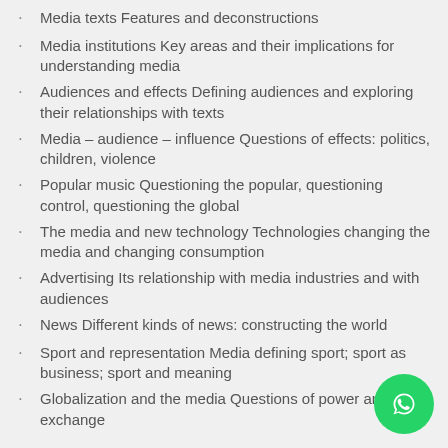Media texts Features and deconstructions
Media institutions Key areas and their implications for understanding media
Audiences and effects Defining audiences and exploring their relationships with texts
Media – audience – influence Questions of effects: politics, children, violence
Popular music Questioning the popular, questioning control, questioning the global
The media and new technology Technologies changing the media and changing consumption
Advertising Its relationship with media industries and with audiences
News Different kinds of news: constructing the world
Sport and representation Media defining sport; sport as business; sport and meaning
Globalization and the media Questions of power and exchange
[Figure (logo): WhatsApp icon button, green circle with white phone handset logo, positioned bottom right corner]